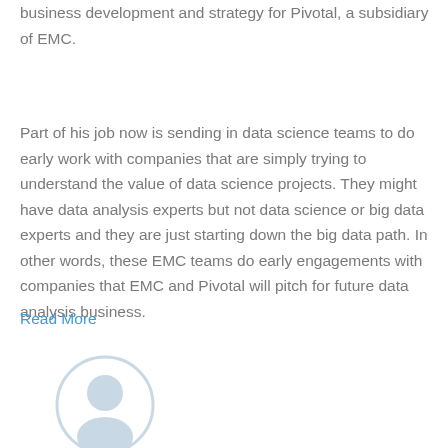business development and strategy for Pivotal, a subsidiary of EMC.
Part of his job now is sending in data science teams to do early work with companies that are simply trying to understand the value of data science projects. They might have data analysis experts but not data science or big data experts and they are just starting down the big data path. In other words, these EMC teams do early engagements with companies that EMC and Pivotal will pitch for future data analysis business.
Read More
[Figure (illustration): Circular avatar/user profile icon in light gray]